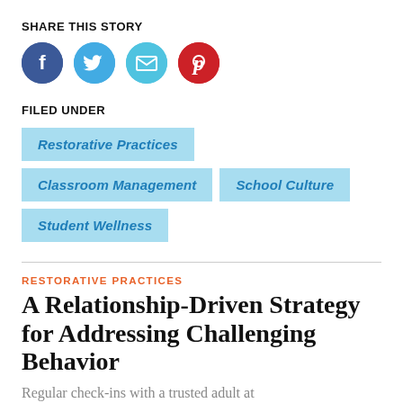SHARE THIS STORY
[Figure (infographic): Row of four social media share icons: Facebook (blue circle with f), Twitter (light blue circle with bird), Email (light blue circle with envelope), Pinterest (red circle with P logo)]
FILED UNDER
Restorative Practices
Classroom Management
School Culture
Student Wellness
RESTORATIVE PRACTICES
A Relationship-Driven Strategy for Addressing Challenging Behavior
Regular check-ins with a trusted adult at